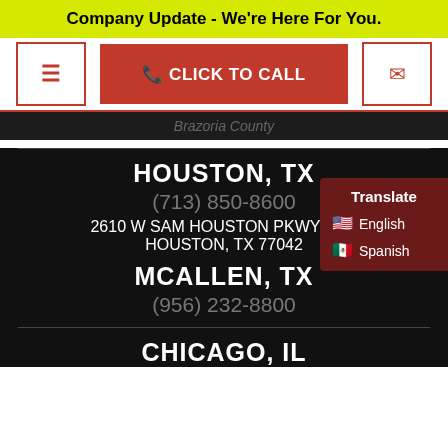Company Update - We're Here For You.
[Figure (screenshot): Navigation bar with hamburger menu icon, red CLICK TO CALL button, and envelope/email icon]
Brazoria County
HOUSTON, TX
(713) 850-8600
2610 W SAM HOUSTON PKWY S #2
HOUSTON, TX 77042
MCALLEN, TX
(956) 232-8800
CHICAGO, IL